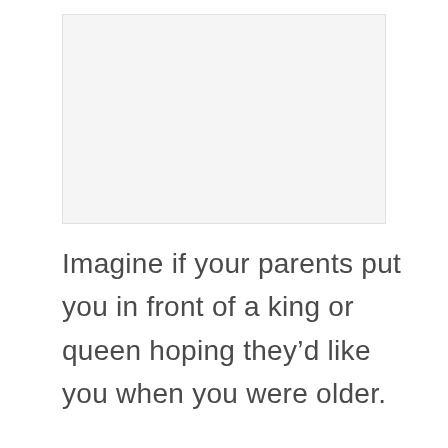[Figure (other): Blank or placeholder image area]
Imagine if your parents put you in front of a king or queen hoping they’d like you when you were older.